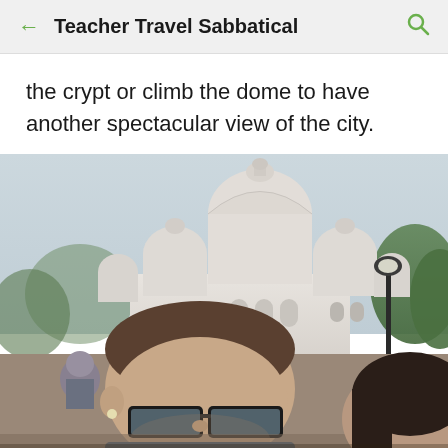Teacher Travel Sabbatical
the crypt or climb the dome to have another spectacular view of the city.
[Figure (photo): Selfie of a man with glasses and a woman in front of Sacré-Cœur Basilica in Paris, with the white stone domes of the church visible behind them, a street lamp on the right, and green trees in the background.]